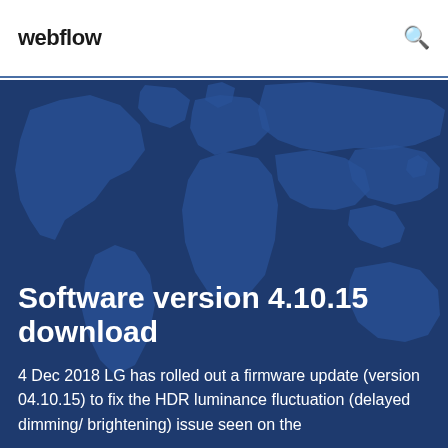webflow
[Figure (illustration): Dark blue world map background image overlaid on a navy blue background, showing continents in a slightly lighter teal-blue tone]
Software version 4.10.15 download
4 Dec 2018 LG has rolled out a firmware update (version 04.10.15) to fix the HDR luminance fluctuation (delayed dimming/ brightening) issue seen on the